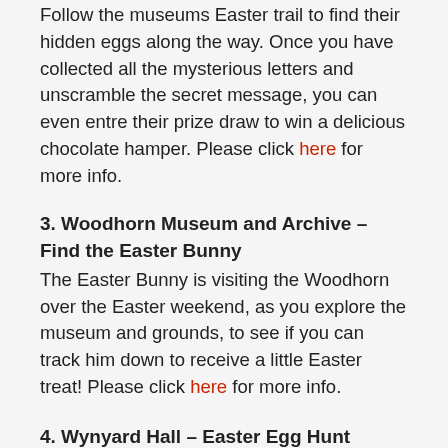Follow the museums Easter trail to find their hidden eggs along the way. Once you have collected all the mysterious letters and unscramble the secret message, you can even entre their prize draw to win a delicious chocolate hamper. Please click here for more info.
3. Woodhorn Museum and Archive – Find the Easter Bunny
The Easter Bunny is visiting the Woodhorn over the Easter weekend, as you explore the museum and grounds, to see if you can track him down to receive a little Easter treat! Please click here for more info.
4. Wynyard Hall – Easter Egg Hunt
Visit Wynyard Hall for a fun-filled day for all the family. There is are lots of activities on offer including, lawn games, storytelling, signing and crafts. Join in the Easter egg hunt in the garden. Please click here for more info.
5. Sunderland Museum & Winter Gardens – Dinosaur Egg...